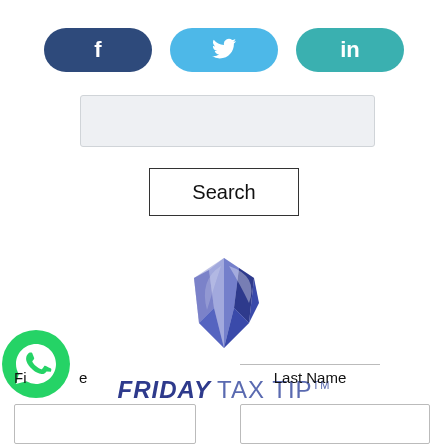[Figure (other): Social share buttons: Facebook (f), Twitter (bird icon), LinkedIn (in)]
[Figure (other): Search input text box]
[Figure (other): Search button]
[Figure (logo): Friday Tax Tip logo with abstract blue/purple faceted globe icon and brand text 'FRIDAY TAX TIP™']
First Name
Last Name
[Figure (other): WhatsApp icon (green circle with phone handset)]
[Figure (other): First Name input field]
[Figure (other): Last Name input field]